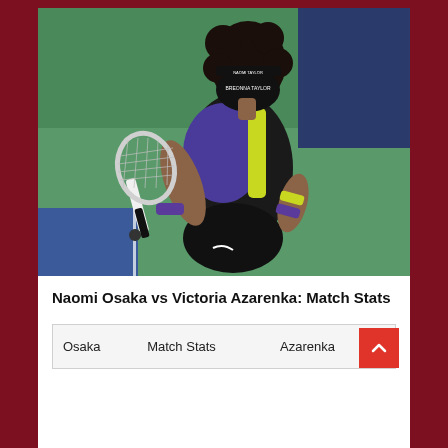[Figure (photo): Naomi Osaka on a tennis court holding a racket, wearing a black Nike outfit with blue and yellow accents, and a black face mask. She is standing on a blue and green hard court.]
Naomi Osaka vs Victoria Azarenka: Match Stats
| Osaka | Match Stats | Azarenka |
| --- | --- | --- |